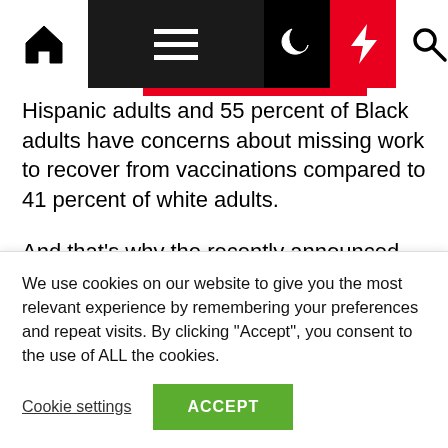Navigation bar with home, menu, moon, lightning, search icons
Hispanic adults and 55 percent of Black adults have concerns about missing work to recover from vaccinations compared to 41 percent of white adults.
And that's why the recently announced tax credits for businesses and nonprofit organizations with fewer than 500 employees are so important — because they provide financial support for businesses providing time off for employees to
We use cookies on our website to give you the most relevant experience by remembering your preferences and repeat visits. By clicking "Accept", you consent to the use of ALL the cookies.
Cookie settings
ACCEPT